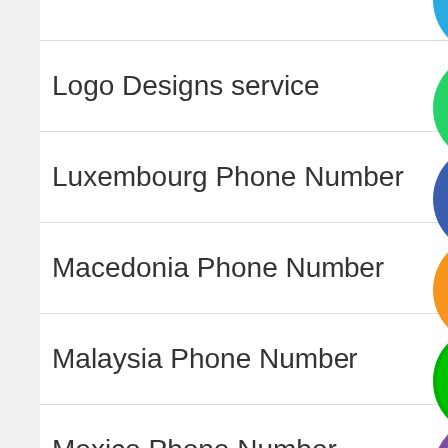Logo Designs service
Luxembourg Phone Number
Macedonia Phone Number
Malaysia Phone Number
Mexico Phone Number
Nepal Phone Number
Netherlands Mobile Number
Norway Phone Number
[Figure (screenshot): Navigation list of phone number and service categories with colored social/contact app icons (WhatsApp, phone, email, LINE, Viber, X/close) overlapping each row, and a red back-to-top button in the bottom right corner.]